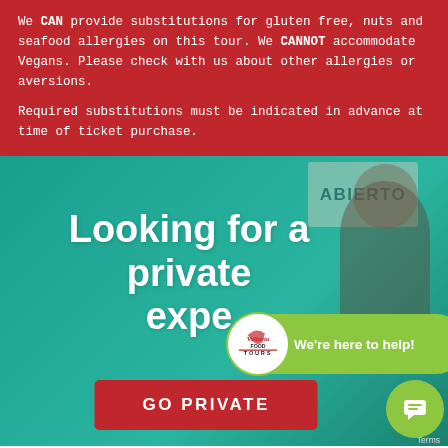We CAN provide substitutions for gluten free, nuts and seafood allergies on this tour. We CANNOT accommodate Vegans. Please check with us about other allergies or aversions.
Required substitutions must be indicated in advance at time of ticket purchase.
[Figure (photo): Teal-tinted photo of people at a food market with an ABIERTO sign, overlaid with large white bold text reading 'Looking for a private expe...' and a red GO PRIVATE button, plus a green chat bubble with Vallarta Food Tours logo saying 'We're here to help!']